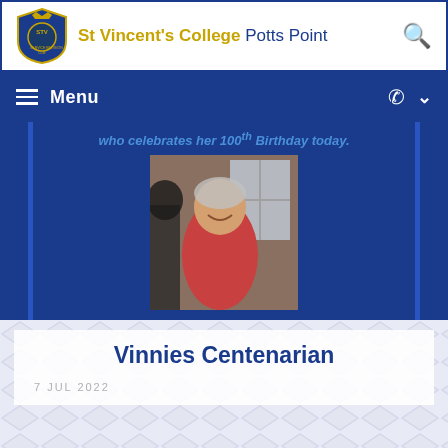St Vincent's College Potts Point
Menu
who celebrates her 100th Birthday today.
[Figure (photo): Smiling woman in a red garment at what appears to be a social gathering]
Vinnies Centenarian
7 JUL 2022